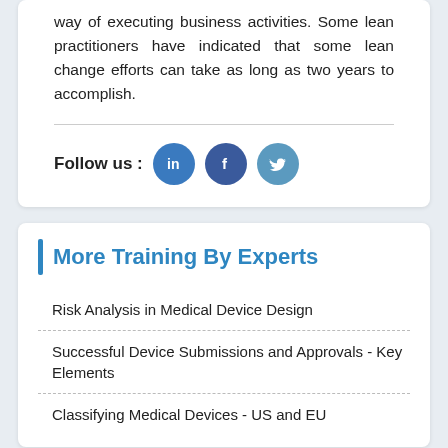way of executing business activities. Some lean practitioners have indicated that some lean change efforts can take as long as two years to accomplish.
Follow us :
[Figure (illustration): Social media icons: LinkedIn (blue circle with 'in' logo), Facebook (dark blue circle with 'f' logo), Twitter (light blue circle with bird logo)]
More Training By Experts
Risk Analysis in Medical Device Design
Successful Device Submissions and Approvals - Key Elements
Classifying Medical Devices - US and EU